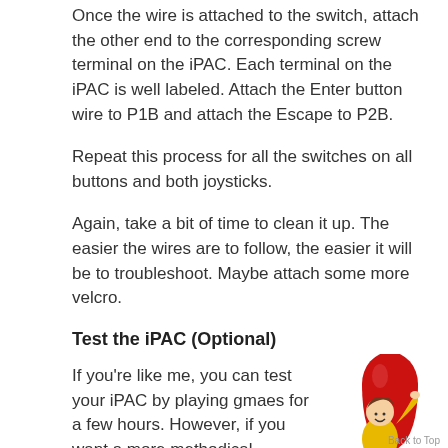Once the wire is attached to the switch, attach the other end to the corresponding screw terminal on the iPAC.  Each terminal on the iPAC is well labeled.  Attach the Enter button wire to P1B and attach the Escape to P2B.
Repeat this process for all the switches on all buttons and both joysticks.
Again, take a bit of time to clean it up.  The easier the wires are to follow, the easier it will be to troubleshoot.  Maybe attach some more velcro.
Test the iPAC (Optional)
If you're like me, you can test your iPAC by playing gmaes for a few hours.  However, if you want a more methodical approach, read on...
[Figure (illustration): Cartoon illustration of a child hugging a large red popsicle/rocket with a lit fuse at the bottom, on a white background]
Download and install the iPAC software from the Ultimarc site.  Attach the iPAC to your...
Back to Top